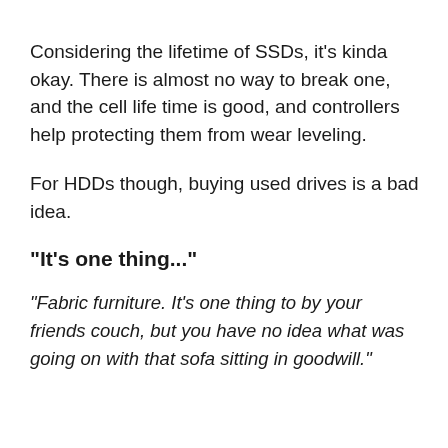Considering the lifetime of SSDs, it's kinda okay. There is almost no way to break one, and the cell life time is good, and controllers help protecting them from wear leveling.
For HDDs though, buying used drives is a bad idea.
"It's one thing..."
"Fabric furniture. It's one thing to by your friends couch, but you have no idea what was going on with that sofa sitting in goodwill."